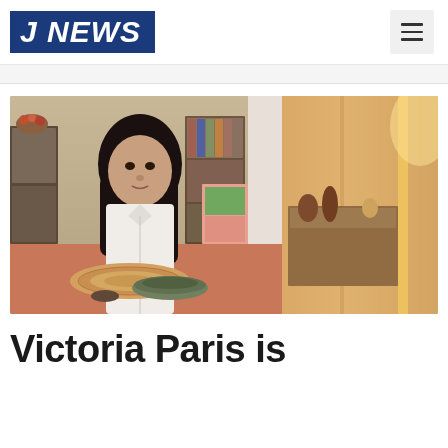J NEWS
[Figure (photo): A young woman with long dark hair wearing a white button-up shirt sits at a table with ceramic dishware and a woven placemat. In the background there is a cabinet, a colorful canvas artwork, and a mirror reflecting decorative items on a shelf. The image is split into two sections with warm amber lighting on the right side.]
Victoria Paris is